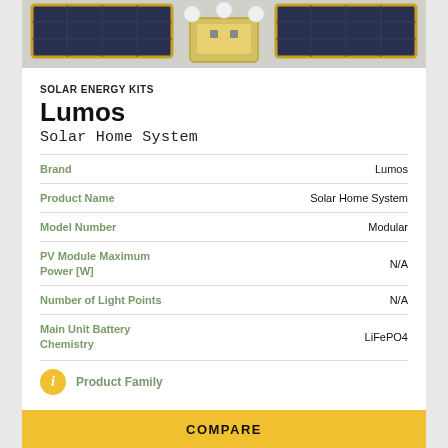[Figure (photo): Solar energy kit product photo showing solar panels and a central hub/battery unit with white lamp balls]
SOLAR ENERGY KITS
Lumos
Solar Home System
| Attribute | Value |
| --- | --- |
| Brand | Lumos |
| Product Name | Solar Home System |
| Model Number | Modular |
| PV Module Maximum Power [W] | N/A |
| Number of Light Points | N/A |
| Main Unit Battery Chemistry | LiFePO4 |
Product Family
COMPARE